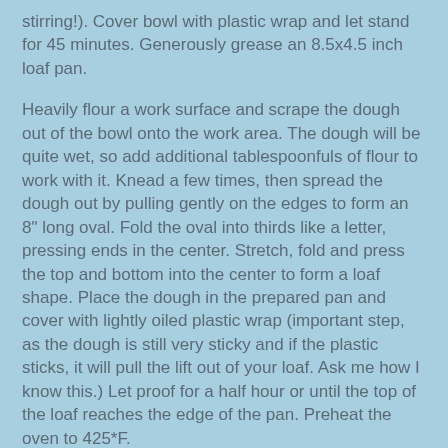stirring!).  Cover bowl with plastic wrap and let stand for 45 minutes.  Generously grease an 8.5x4.5 inch loaf pan.
Heavily flour a work surface and scrape the dough out of the bowl onto the work area.  The dough will be quite wet, so add additional tablespoonfuls of flour to work with it.  Knead a few times, then spread the dough out by pulling gently on the edges to form an 8" long oval.  Fold the oval into thirds like a letter, pressing ends in the center.  Stretch, fold and press the top and bottom into the center to form a loaf shape.  Place the dough in the prepared pan and cover with lightly oiled plastic wrap (important step, as the dough is still very sticky and if the plastic sticks, it will pull the lift out of your loaf.  Ask me how I know this.)  Let proof for a half hour or until the top of the loaf reaches the edge of the pan.  Preheat the oven to 425*F.
Lower the heat to 375, remove plastic wrap and bake the bread for 40 minutes until browned on top.  Let cool in pan for 15 mins, then turn out onto a cooling rack.  Let cool for 2 hours before slicing.  This is the most difficult part....oh, that smell....